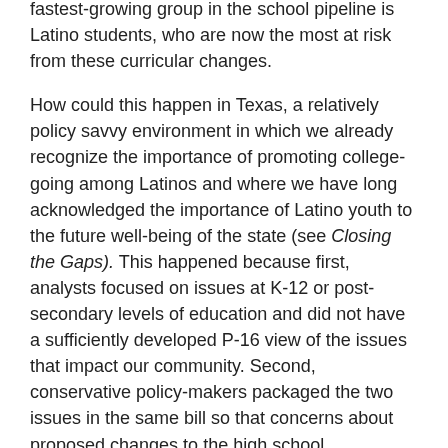fastest-growing group in the school pipeline is Latino students, who are now the most at risk from these curricular changes.
How could this happen in Texas, a relatively policy savvy environment in which we already recognize the importance of promoting college-going among Latinos and where we have long acknowledged the importance of Latino youth to the future well-being of the state (see Closing the Gaps). This happened because first, analysts focused on issues at K-12 or post-secondary levels of education and did not have a sufficiently developed P-16 view of the issues that impact our community. Second, conservative policy-makers packaged the two issues in the same bill so that concerns about proposed changes to the high school preparation curriculum would be overwhelmed by support for testing reduction. And it worked. So now, is it possible to “make a silk purse out of [the] pig’s ear” that is, potentially, the curricular part of HB 5?